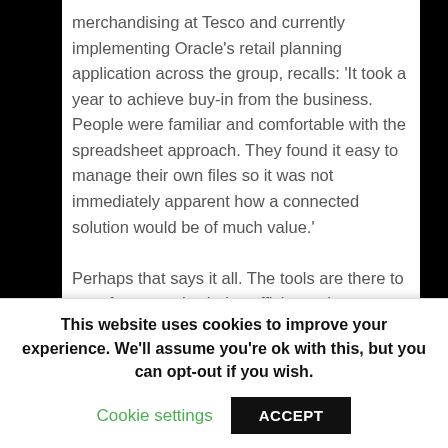merchandising at Tesco and currently implementing Oracle's retail planning application across the group, recalls: 'It took a year to achieve buy-in from the business. People were familiar and comfortable with the spreadsheet approach. They found it easy to manage their own files so it was not immediately apparent how a connected solution would be of much value.'

Perhaps that says it all. The tools are there to transform supply chains efficiency, but weaning the planners and merchandisers off their spreadsheets is the real challenge.
This website uses cookies to improve your experience. We'll assume you're ok with this, but you can opt-out if you wish. Cookie settings ACCEPT